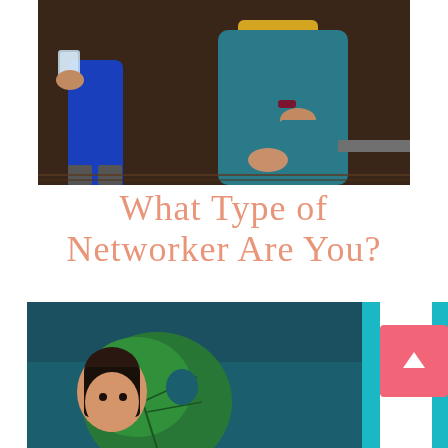[Figure (photo): Two people sitting together from waist down; one wearing bright blue pants holding a glass of water, the other wearing teal scrubs seated on a wooden bench with yellow cushion]
What Type of Networker Are You?
[Figure (photo): Woman with dark hair partially visible behind a large green monstera leaf against a teal/dark blue background, with a teal vertical stripe and pink scroll-to-top button]